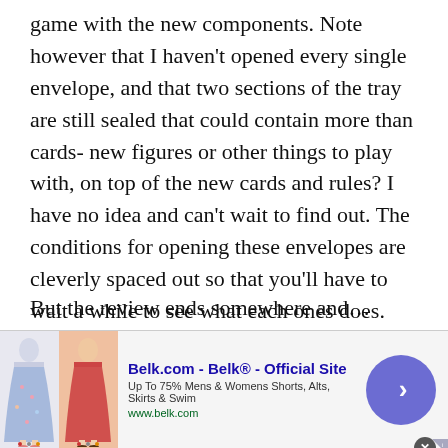game with the new components. Note however that I haven't opened every single envelope, and that two sections of the tray are still sealed that could contain more than cards- new figures or other things to play with, on top of the new cards and rules? I have no idea and can't wait to find out. The conditions for opening these envelopes are cleverly spaced out so that you'll have to wait a while to see what each ones does. I've been pulling the game out every time friends come over, and this from someone who never thought he'd play Risk again.
But the review ends somewhere and...
[Figure (other): Advertisement banner for Belk.com - Belk Official Site. Shows two clothing images (floral and red skirts/shorts), text 'Belk.com - Belk® - Official Site', 'Up To 75% Mens & Womens Shorts, Alts, Skirts & Swim', 'www.belk.com', and a blue arrow circle button on the right.]